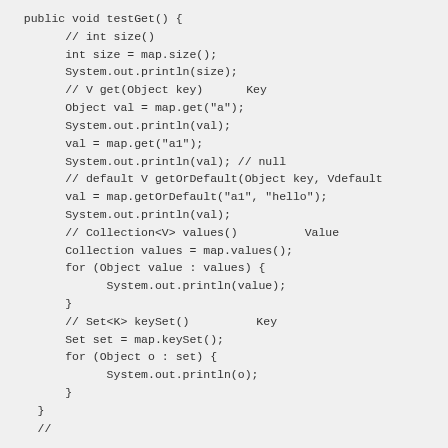public void testGet() {
    // int size() 　　　　　　　　　
    int size = map.size();
    System.out.println(size);
    // V get(Object key) 　　Key　　　　　　　　　　　　　　　　
    Object val = map.get("a");
    System.out.println(val);
    val = map.get("a1");
    System.out.println(val); // null
    // default V getOrDefault(Object key, Vdefault
    val = map.getOrDefault("a1", "hello");
    System.out.println(val);
    // Collection<V> values() 　　　　　　　Value
    Collection values = map.values();
    for (Object value : values) {
        System.out.println(value);
    }
    // Set<K> keySet() 　　　　　　　　Key
    Set set = map.keySet();
    for (Object o : set) {
        System.out.println(o);
    }
}
//